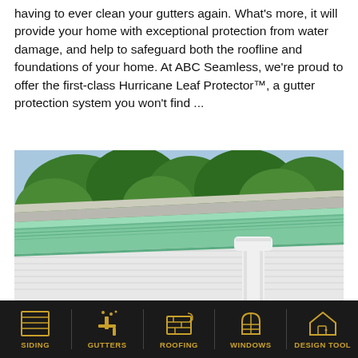having to ever clean your gutters again. What's more, it will provide your home with exceptional protection from water damage, and help to safeguard both the roofline and foundations of your home. At ABC Seamless, we're proud to offer the first-class Hurricane Leaf Protector™, a gutter protection system you won't find ...
[Figure (photo): Close-up photo of a green seamless gutter system on a house roofline with a white downspout, trees visible in background]
[Figure (infographic): Navigation bar with 5 icons on black background: SIDING, GUTTERS, ROOFING, WINDOWS, DESIGN TOOL — all in gold/yellow color]